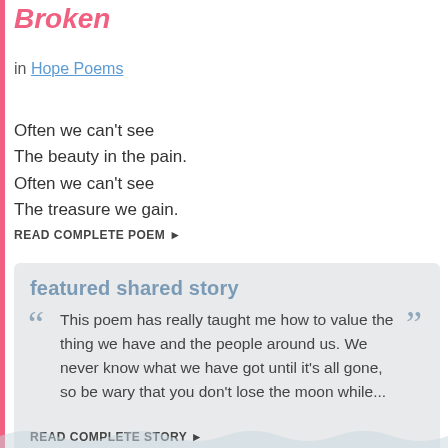Broken
in Hope Poems
Often we can't see
The beauty in the pain.
Often we can't see
The treasure we gain.
READ COMPLETE POEM ▶
featured shared story
This poem has really taught me how to value the thing we have and the people around us. We never know what we have got until it's all gone, so be wary that you don't lose the moon while...
READ COMPLETE STORY ▶